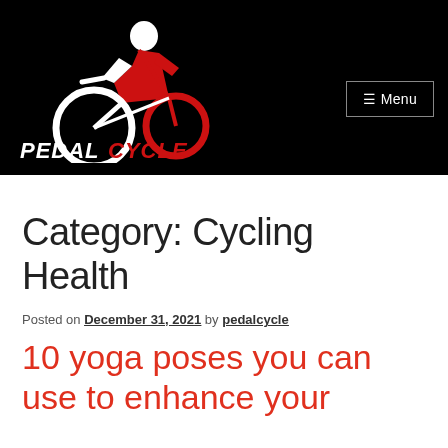[Figure (logo): PedalCycle logo: a red and white stylized cyclist in aerodynamic position over the text PEDALCYCLE in white and red on a black background]
☰ Menu
Category: Cycling Health
Posted on December 31, 2021 by pedalcycle
10 yoga poses you can use to enhance your